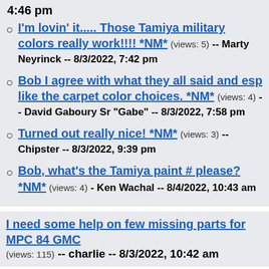4:46 pm
I'm lovin' it..... Those Tamiya military colors really work!!!! *NM* (views: 5) -- Marty Neyrinck -- 8/3/2022, 7:42 pm
Bob I agree with what they all said and esp like the carpet color choices. *NM* (views: 4) -- David Gaboury Sr "Gabe" -- 8/3/2022, 7:58 pm
Turned out really nice! *NM* (views: 3) -- Chipster -- 8/3/2022, 9:39 pm
Bob, what's the Tamiya paint # please? *NM* (views: 4) - Ken Wachal -- 8/4/2022, 10:43 am
I need some help on few missing parts for MPC 84 GMC (views: 115) -- charlie -- 8/3/2022, 10:42 am
Reply to previous thread
I did not know that. I am really glad to hear it. Thanks for the info. *NM* (views: 5) -- Bill Austin -- 8/3/2022, 10:25 am